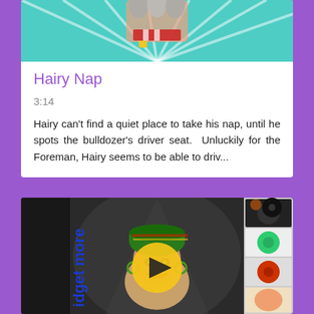[Figure (illustration): Cartoon illustration with teal/mint background showing a character, top portion of card]
Hairy Nap
3:14
Hairy can't find a quiet place to take his nap, until he spots the bulldozer's driver seat.  Unluckily for the Foreman, Hairy seems to be able to driv...
[Figure (screenshot): Video thumbnail showing animated character with Rastafarian hat and a yellow play button overlay, with 'idget more' text on left side and character thumbnails on right side]